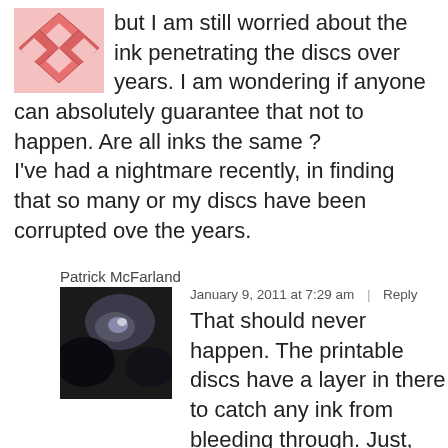but I am still worried about the ink penetrating the discs over years. I am wondering if anyone can absolutely guarantee that not to happen. Are all inks the same ? I've had a nightmare recently, in finding that so many or my discs have been corrupted ove the years.
Patrick McFarland
January 9, 2011 at 7:29 am | Reply
That should never happen. The printable discs have a layer in there to catch any ink from bleeding through. Just, uh, avoid cheap third party inks, its not good for the printer, the prints often fade, and other stuff might go wrong.